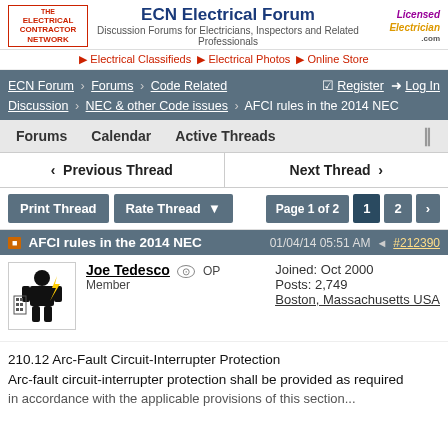ECN Electrical Forum — Discussion Forums for Electricians, Inspectors and Related Professionals
▶ Electrical Classifieds ▶ Electrical Photos ▶ Online Store
ECN Forum > Forums > Code Related | Register | Log In > Discussion > NEC & other Code issues > AFCI rules in the 2014 NEC
Forums  Calendar  Active Threads
◀ Previous Thread    Next Thread ▶
Print Thread  Rate Thread ▼    Page 1 of 2  1  2  >
AFCI rules in the 2014 NEC  01/04/14 05:51 AM  #212390
Joe Tedesco  OP  Member  Joined: Oct 2000  Posts: 2,749  Boston, Massachusetts USA
210.12 Arc-Fault Circuit-Interrupter Protection
Arc-fault circuit-interrupter protection shall be provided as required...